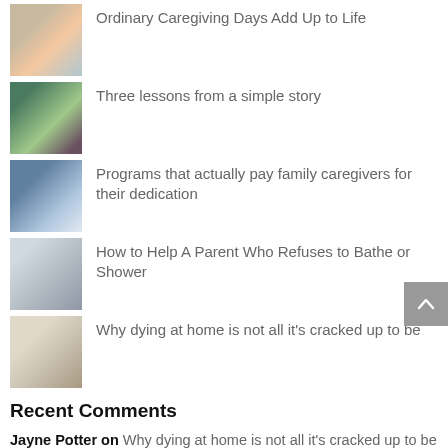Ordinary Caregiving Days Add Up to Life
Three lessons from a simple story
Programs that actually pay family caregivers for their dedication
How to Help A Parent Who Refuses to Bathe or Shower
Why dying at home is not all it's cracked up to be
Recent Comments
Jayne Potter on Why dying at home is not all it's cracked up to be
Matthew J Pieffer on What if There's No Such Thing as Closure?